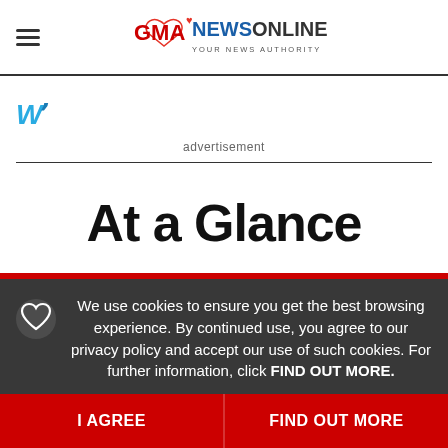GMA NEWS ONLINE - YOUR NEWS AUTHORITY
[Figure (other): Weather widget icon - stylized W in teal/blue color]
advertisement
At a Glance
We use cookies to ensure you get the best browsing experience. By continued use, you agree to our privacy policy and accept our use of such cookies. For further information, click FIND OUT MORE.
I AGREE
FIND OUT MORE